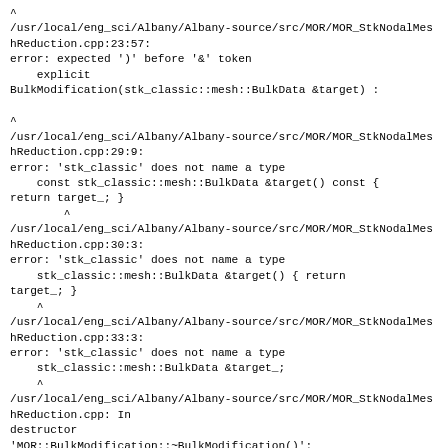^
/usr/local/eng_sci/Albany/Albany-source/src/MOR/MOR_StkNodalMeshReduction.cpp:23:57:
error: expected ')' before '&' token
    explicit
BulkModification(stk_classic::mesh::BulkData &target) :

^
/usr/local/eng_sci/Albany/Albany-source/src/MOR/MOR_StkNodalMeshReduction.cpp:29:9:
error: 'stk_classic' does not name a type
    const stk_classic::mesh::BulkData &target() const {
return target_; }
        ^
/usr/local/eng_sci/Albany/Albany-source/src/MOR/MOR_StkNodalMeshReduction.cpp:30:3:
error: 'stk_classic' does not name a type
    stk_classic::mesh::BulkData &target() { return
target_; }
    ^
/usr/local/eng_sci/Albany/Albany-source/src/MOR/MOR_StkNodalMeshReduction.cpp:33:3:
error: 'stk_classic' does not name a type
    stk_classic::mesh::BulkData &target_;
    ^
/usr/local/eng_sci/Albany/Albany-source/src/MOR/MOR_StkNodalMeshReduction.cpp: In destructor
'MOR::BulkModification::~BulkModification()':
/usr/local/eng_sci/Albany/Albany-